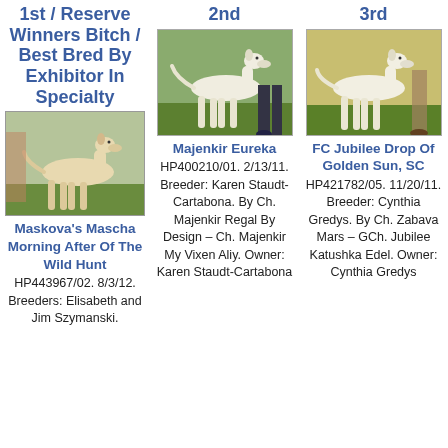1st / Reserve Winners Bitch / Best Bred By Exhibitor In Specialty
2nd
3rd
[Figure (photo): Photo of a whippet/greyhound type dog standing on green grass, light cream/fawn colored, side profile]
[Figure (photo): Photo of a white greyhound/saluki type dog standing on green grass, side profile, handler partially visible]
[Figure (photo): Photo of a white/cream greyhound type dog standing on green grass, side profile, handler visible at right]
Maskova's Mascha Morning After Of The Wild Hunt HP443967/02. 8/3/12. Breeders: Elisabeth and Jim Szymanski.
Majenkir Eureka HP400210/01. 2/13/11. Breeder: Karen Staudt-Cartabona. By Ch. Majenkir Regal By Design – Ch. Majenkir My Vixen Aliy. Owner: Karen Staudt-Cartabona
FC Jubilee Drop Of Golden Sun, SC HP421782/05. 11/20/11. Breeder: Cynthia Gredys. By Ch. Zabava Mars – GCh. Jubilee Katushka Edel. Owner: Cynthia Gredys